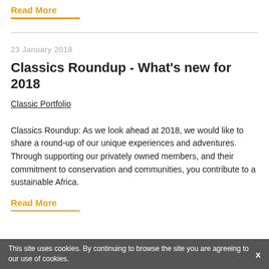Read More
23 January 2018
Classics Roundup - What's new for 2018
Classic Portfolio
Classics Roundup: As we look ahead at 2018, we would like to share a round-up of our unique experiences and adventures. Through supporting our privately owned members, and their commitment to conservation and communities, you contribute to a sustainable Africa.
Read More
This site uses cookies. By continuing to browse the site you are agreeing to our use of cookies.